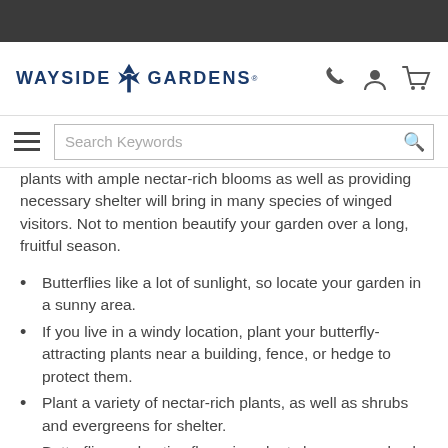Wayside Gardens
plants with ample nectar-rich blooms as well as providing necessary shelter will bring in many species of winged visitors. Not to mention beautify your garden over a long, fruitful season.
Butterflies like a lot of sunlight, so locate your garden in a sunny area.
If you live in a windy location, plant your butterfly-attracting plants near a building, fence, or hedge to protect them.
Plant a variety of nectar-rich plants, as well as shrubs and evergreens for shelter.
Butterflies and native flowering plants have co-evolved: put in plants that are native to your area. The Lady Bird Johnson Wildflower Center provides lists of plants native to states and regions.
Certain colors are attractive to butterflies like red, yellow, pink…